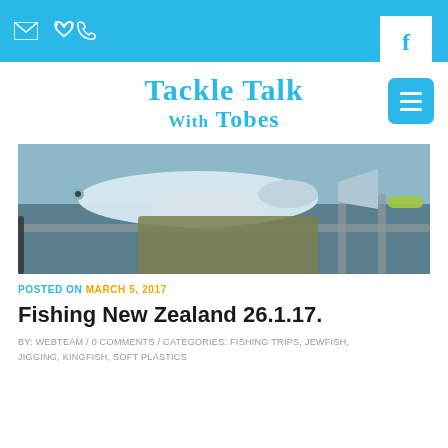✉ ☎ [header bar with email and phone icons, Facebook button]
[Figure (logo): Tackle Talk With Tobes logo in blue cursive script with hamburger menu button]
[Figure (photo): Person holding a large fish (kingfish/jewfish) on a boat, outdoor fishing scene]
POSTED ON MARCH 5, 2017
Fishing New Zealand 26.1.17.
BY: WEBTEAM / 0 COMMENTS / CATEGORIES: FISHING TRIPS, JEWFISH, JIGGING, KINGFISH, SOFT PLASTICS